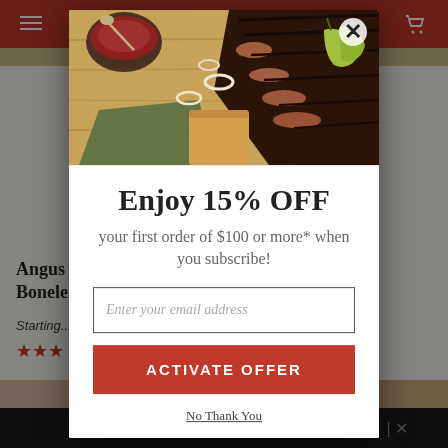[Figure (screenshot): E-commerce website background showing Angus Boneless product page with red header bar, hamburger menu, cart icon, product title, star rating, and product images. A dark overlay covers the background.]
[Figure (photo): Food photo of sliced smoked brisket on a wooden cutting board with BBQ sauce, onion rings, and pepperoncini peppers at the top of the popup modal.]
Enjoy 15% OFF
your first order of $100 or more* when you subscribe!
Enter your email address
ACTIVATE OFFER
No Thank You